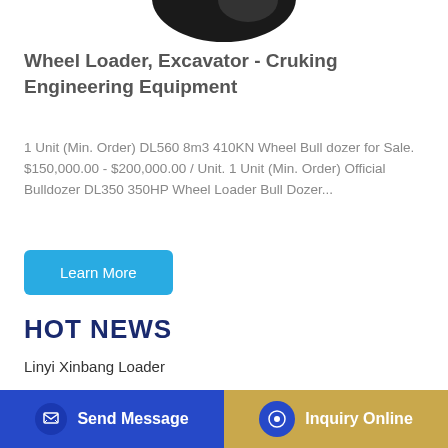[Figure (photo): Partial view of a construction machine (excavator or loader) at the very top of the page, dark colored silhouette against white background]
Wheel Loader, Excavator - Cruking Engineering Equipment
1 Unit (Min. Order) DL560 8m3 410KN Wheel Bull dozer for Sale. $150,000.00 - $200,000.00 / Unit. 1 Unit (Min. Order) Official Bulldozer DL350 350HP Wheel Loader Bull Dozer...
Learn More
HOT NEWS
Linyi Xinbang Loader
buy For Hyundai Excavator R210-7 Main Relief Valve
Magnificent And Well-Designed doosan excavator
Send Message
Inquiry Online